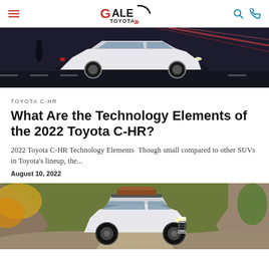Gale Toyota
[Figure (photo): White Toyota C-HR SUV parked at night in an urban setting with motion-blurred background]
TOYOTA C-HR
What Are the Technology Elements of the 2022 Toyota C-HR?
2022 Toyota C-HR Technology Elements  Though small compared to other SUVs in Toyota's lineup, the...
August 10, 2022
[Figure (photo): White Toyota RAV4 TRD Off-Road SUV with roof rack driving on a rocky trail through canyon terrain with autumn foliage]